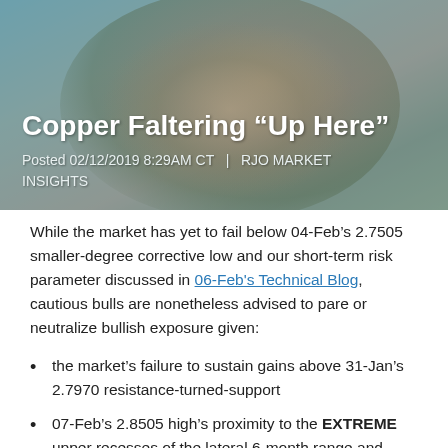[Figure (photo): Hero image of copper ore or mineral rock with teal/blue-gray tones serving as background for the article header]
Copper Faltering “Up Here”
Posted 02/12/2019 8:29AM CT  |  RJO MARKET INSIGHTS
While the market has yet to fail below 04-Feb’s 2.7505 smaller-degree corrective low and our short-term risk parameter discussed in 06-Feb's Technical Blog, cautious bulls are nonetheless advised to pare or neutralize bullish exposure given:
the market’s failure to sustain gains above 31-Jan’s 2.7970 resistance-turned-support
07-Feb’s 2.8505 high’s proximity to the EXTREME upper recesses of the lateral 6-month range and
Fibonacci fact that the rally from 14-Jan’s 2.6165 (suspected 2nd- or b-Wave) low spanned a length